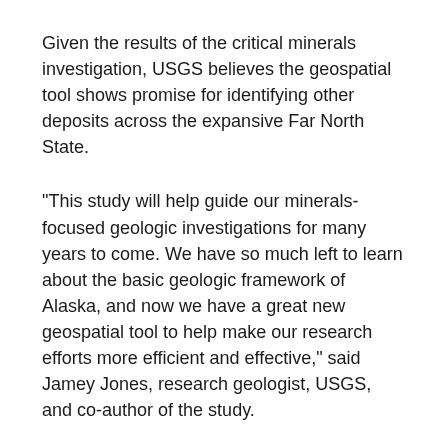Given the results of the critical minerals investigation, USGS believes the geospatial tool shows promise for identifying other deposits across the expansive Far North State.
"This study will help guide our minerals-focused geologic investigations for many years to come. We have so much left to learn about the basic geologic framework of Alaska, and now we have a great new geospatial tool to help make our research efforts more efficient and effective," said Jamey Jones, research geologist, USGS, and co-author of the study.
The full report – complete with source information, datasets and maps – can be found under the title "GIS-based identification of areas that have resource potential for critical minerals in six selected groups of deposit types in Alaska" in the publications section of the USGS website.